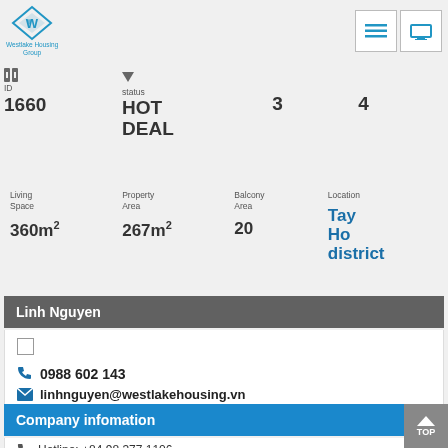Westlake Housing Group
ID 1660 | status HOT DEAL | 3 | 4
Living Space 360m² | Property Area 267m² | Balcony Area 20 | Location Tay Ho district
Linh Nguyen
0988 602 143
linhnguyen@westlakehousing.vn
Company infomation
Hotline: +84 98 377 1106
info@westlakehousing.vn